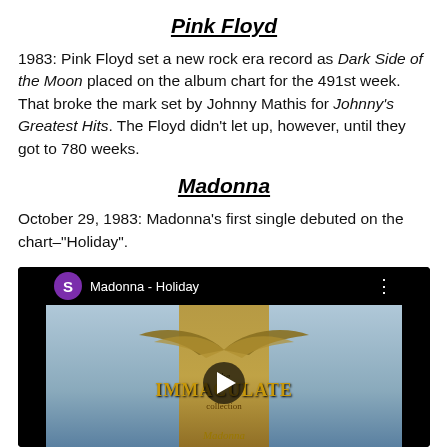Pink Floyd
1983: Pink Floyd set a new rock era record as Dark Side of the Moon placed on the album chart for the 491st week.  That broke the mark set by Johnny Mathis for Johnny's Greatest Hits.  The Floyd didn't let up, however, until they got to 780 weeks.
Madonna
October 29, 1983: Madonna's first single debuted on the chart–"Holiday".
[Figure (screenshot): YouTube video thumbnail for Madonna - Holiday showing the Immaculate Collection logo on a blue background with a play button overlay.]